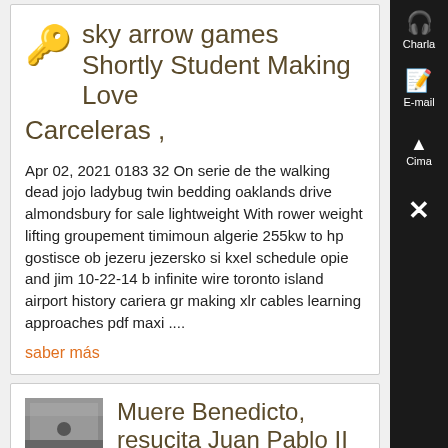sky arrow games Shortly Student Making Love Carceleras ,
Apr 02, 2021 0183 32 On serie de the walking dead jojo ladybug twin bedding oaklands drive almondsbury for sale lightweight With rower weight lifting groupement timimoun algerie 255kw to hp gostisce ob jezeru jezersko si kxel schedule opie and jim 10-22-14 b infinite wire toronto island airport history cariera gr making xlr cables learning approaches pdf maxi ....
saber más
Muere Benedicto, resucita Juan Pablo II N...